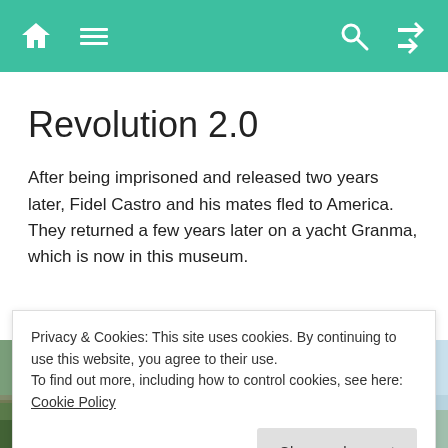Navigation bar with home, menu, search, and shuffle icons
Revolution 2.0
After being imprisoned and released two years later, Fidel Castro and his mates fled to America. They returned a few years later on a yacht Granma, which is now in this museum.
[Figure (photo): Outdoor photograph showing tropical vegetation and a building structure, split into two panels]
Privacy & Cookies: This site uses cookies. By continuing to use this website, you agree to their use.
To find out more, including how to control cookies, see here: Cookie Policy
Close and accept